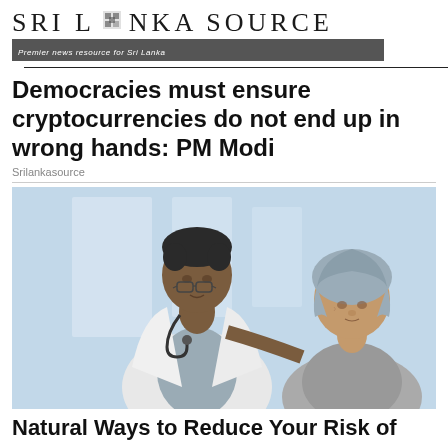Sri Lanka Source — Premier news resource for Sri Lanka
Democracies must ensure cryptocurrencies do not end up in wrong hands: PM Modi
Srilankasource
[Figure (photo): A male doctor in a white coat with stethoscope showing something on a tablet or document to an elderly woman wearing a gray head covering, in a clinical setting with blurred background]
Natural Ways to Reduce Your Risk of